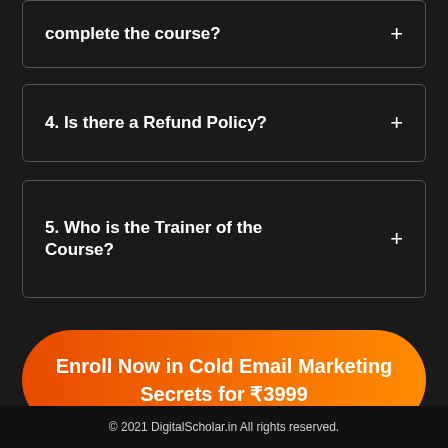complete the course?
4. Is there a Refund Policy?
5. Who is the Trainer of the Course?
Enroll Now in Cold Email Marketing Secrets for ₹3999
© 2021 DigitalScholar.in All rights reserved.